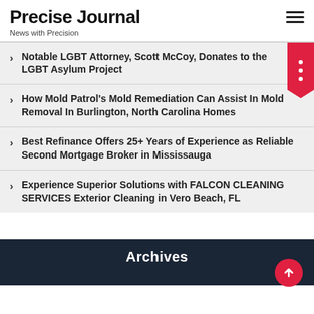Precise Journal
News with Precision
Notable LGBT Attorney, Scott McCoy, Donates to the LGBT Asylum Project
How Mold Patrol's Mold Remediation Can Assist In Mold Removal In Burlington, North Carolina Homes
Best Refinance Offers 25+ Years of Experience as Reliable Second Mortgage Broker in Mississauga
Experience Superior Solutions with FALCON CLEANING SERVICES Exterior Cleaning in Vero Beach, FL
Archives